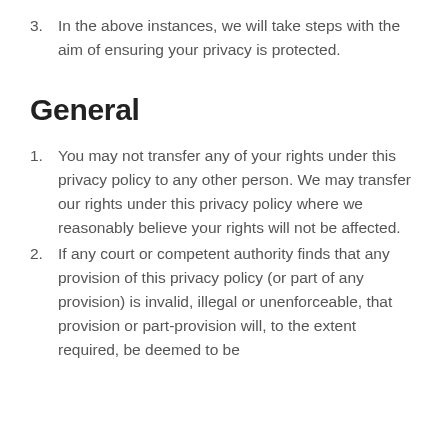3. In the above instances, we will take steps with the aim of ensuring your privacy is protected.
General
1. You may not transfer any of your rights under this privacy policy to any other person. We may transfer our rights under this privacy policy where we reasonably believe your rights will not be affected.
2. If any court or competent authority finds that any provision of this privacy policy (or part of any provision) is invalid, illegal or unenforceable, that provision or part-provision will, to the extent required, be deemed to be